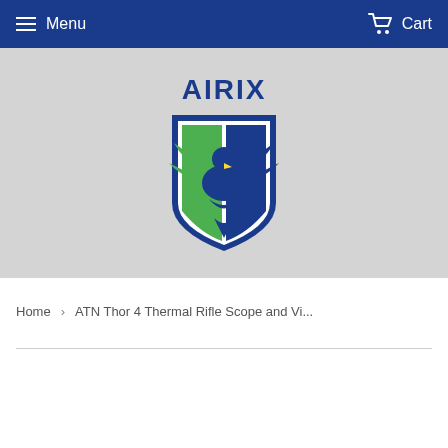Menu | Cart
[Figure (logo): AIRIX logo with eagle/bird on a shield, green and blue colors, with AIRIX text above]
Home › ATN Thor 4 Thermal Rifle Scope and Vi...